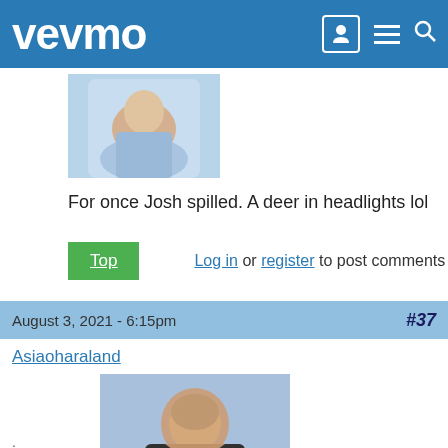vevmo
[Figure (photo): Partial avatar image of a person sitting, top portion visible]
For once Josh spilled. A deer in headlights lol
Top   Log in or register to post comments
August 3, 2021 - 6:15pm   #37
Asiaoharaland
[Figure (photo): Profile photo of Asiaoharaland - woman with long dark hair in black athletic top]